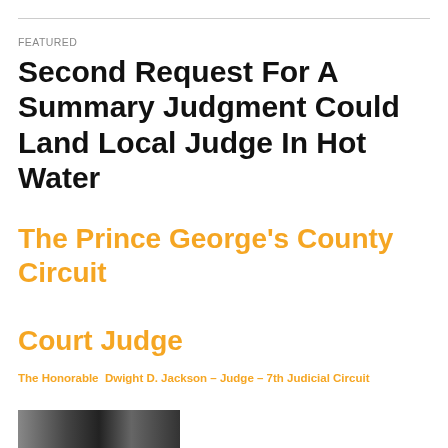FEATURED
Second Request For A Summary Judgment Could Land Local Judge In Hot Water
The Prince George's County Circuit Court Judge
The Honorable  Dwight D. Jackson – Judge – 7th Judicial Circuit
[Figure (photo): Partial photo strip visible at bottom of page showing people in black and white]